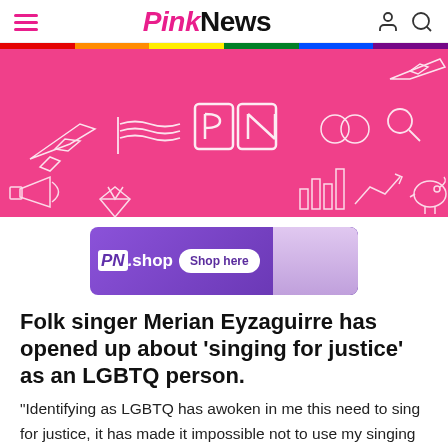PinkNews
[Figure (illustration): PinkNews pink banner with white line-art icons: airplanes, flags, PN logo block letters, rings, magnifying glass, megaphone, diamond, chart, piggy bank]
[Figure (screenshot): PN.shop advertisement banner with purple gradient background, Shop here button, and clothing images]
Folk singer Merian Eyzaguirre has opened up about 'singing for justice' as an LGBTQ person.
“Identifying as LGBTQ has awoken in me this need to sing for justice, it has made it impossible not to use my singing as a vehicle for protest,” she told NBC News. “Singing is one of my forms of activism.”